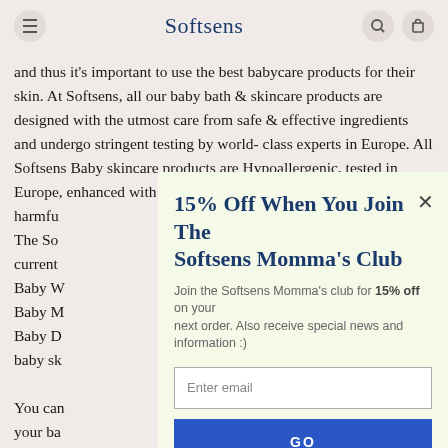Softsens
and thus it's important to use the best babycare products for their skin. At Softsens, all our baby bath & skincare products are designed with the utmost care from safe & effective ingredients and undergo stringent testing by world-class experts in Europe. All Softsens Baby skincare products are Hypoallergenic, tested in Europe, enhanced with na... harmfu... The So... current... Baby W... Baby M... Baby D... baby sk...
You can... your ba... nourish... to daily... newbor... every li... joy.
15% Off When You Join The Softsens Momma's Club
Join the Softsens Momma's club for 15% off on your next order. Also receive special news and information :)